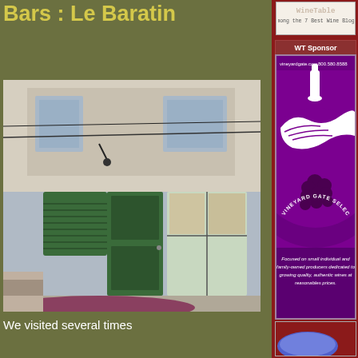Bars : Le Baratin
[Figure (photo): Photo of a Parisian street storefront with green shuttered door and windows]
We visited several times
[Figure (other): Badge: Among the 7 Best Wine Blogs]
WT Sponsor
[Figure (logo): Vineyard Gate Selections logo - circular purple logo with wine bottle and grapes, hand holding grapes. Website: vineyardgate.com, Phone: 800.580.8588. Tagline: Focused on small individual and family-owned producers dedicated to growing quality, authentic wines at reasonables prices.]
[Figure (other): Partial image at bottom right, appears to be another advertisement]